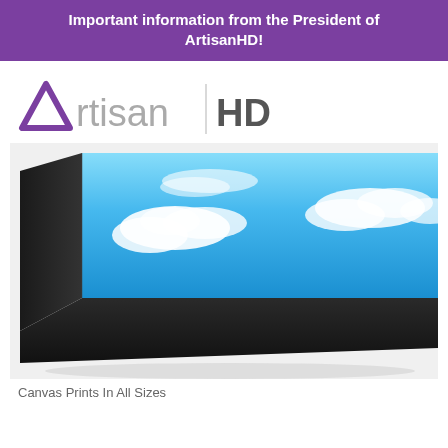Important information from the President of ArtisanHD!
[Figure (logo): ArtisanHD logo with purple triangle A and grey 'rtisan' text, vertical divider, and bold grey 'HD' text]
[Figure (photo): Close-up corner of a canvas print mounted on a thick black frame, showing blue sky with white clouds printed on canvas]
Canvas Prints In All Sizes